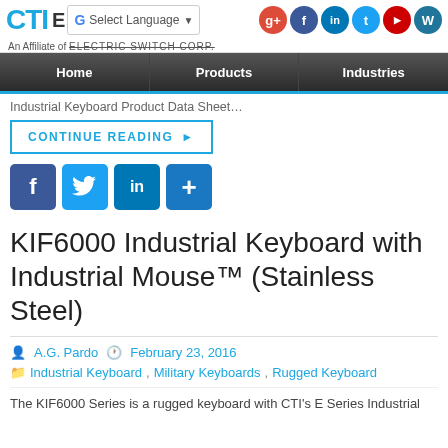[Figure (screenshot): Website header with CTI logo, Google Translate widget, and social media icons (Google+, Facebook, LinkedIn, Twitter, YouTube, WordPress)]
An Affiliate of ELECTRIC SWITCH CORP.
[Figure (screenshot): Navigation bar with Home, Products, Industries menu items on dark background with blue bottom border]
Industrial Keyboard Product Data Sheet…
CONTINUE READING ▶
[Figure (screenshot): Social sharing icons: Facebook, Twitter, LinkedIn, More]
KIF6000 Industrial Keyboard with Industrial Mouse™ (Stainless Steel)
A.G. Pardo   February 23, 2016
Industrial Keyboard, Military Keyboards, Rugged Keyboard
The KIF6000 Series is a rugged keyboard with CTI's E Series Industrial